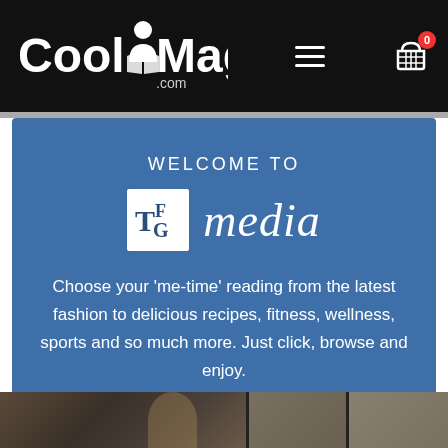[Figure (logo): CoolMags.com logo in white on black navigation bar with hamburger menu and shopping cart icon with badge showing 0]
WELCOME TO
[Figure (logo): TFG media logo: white TFG monogram box beside italic 'media' text in white]
Choose your ‘me-time’ reading from the latest fashion to delicious recipes, fitness, wellness, sports and so much more. Just click, browse and enjoy.
[Figure (photo): Partial photo strip showing person reading in a dark interior space, split into panels]